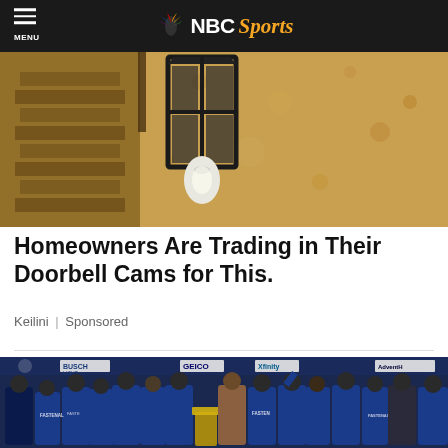MENU | NBC Sports
[Figure (photo): Close-up photo of a wall-mounted outdoor lantern/light fixture against a textured stone/stucco wall]
Homeowners Are Trading in Their Doorbell Cams for This.
Keilini | Sponsored
[Figure (photo): Group photo of a NASCAR racing team in blue Fastenal uniforms celebrating a victory, gathered around a trophy on a stage with sponsor banners including Busch Light, GEICO, Xfinity, and AdventHealth in the background]